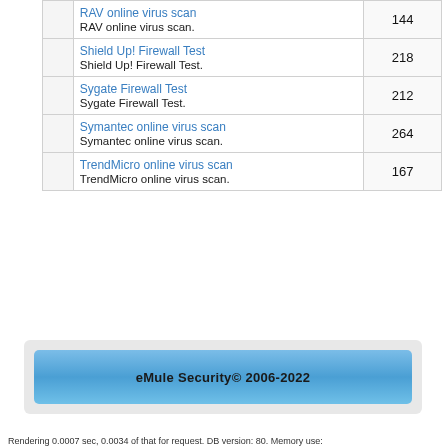|  | Name / Description | Count |
| --- | --- | --- |
|  | RAV online virus scan
RAV online virus scan. | 144 |
|  | Shield Up! Firewall Test
Shield Up! Firewall Test. | 218 |
|  | Sygate Firewall Test
Sygate Firewall Test. | 212 |
|  | Symantec online virus scan
Symantec online virus scan. | 264 |
|  | TrendMicro online virus scan
TrendMicro online virus scan. | 167 |
[Figure (other): eMule Security banner with gradient blue background and text 'eMule Security© 2006-2022']
Rendering 0.0007 sec, 0.0034 of that for request. DB version: 80. Memory use: